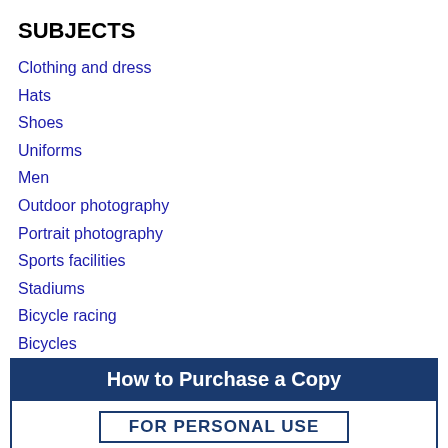SUBJECTS
Clothing and dress
Hats
Shoes
Uniforms
Men
Outdoor photography
Portrait photography
Sports facilities
Stadiums
Bicycle racing
Bicycles
How to Purchase a Copy
FOR PERSONAL USE